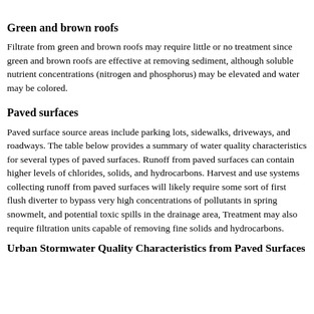Green and brown roofs
Filtrate from green and brown roofs may require little or no treatment since green and brown roofs are effective at removing sediment, although soluble nutrient concentrations (nitrogen and phosphorus) may be elevated and water may be colored.
Paved surfaces
Paved surface source areas include parking lots, sidewalks, driveways, and roadways. The table below provides a summary of water quality characteristics for several types of paved surfaces. Runoff from paved surfaces can contain higher levels of chlorides, solids, and hydrocarbons. Harvest and use systems collecting runoff from paved surfaces will likely require some sort of first flush diverter to bypass very high concentrations of pollutants in spring snowmelt, and potential toxic spills in the drainage area, Treatment may also require filtration units capable of removing fine solids and hydrocarbons.
Urban Stormwater Quality Characteristics from Paved Surfaces